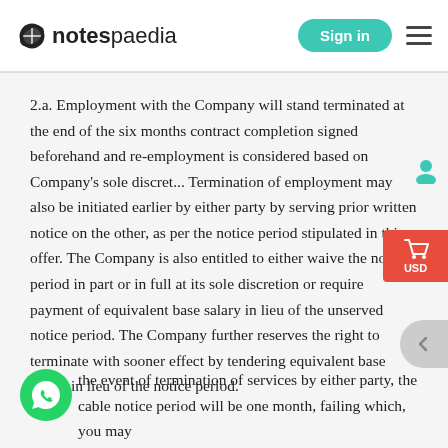notespaedia | Sign in
2.a. Employment with the Company will stand terminated at the end of the six months contract completion signed beforehand and re-employment is considered based on Company's sole discretion. Termination of employment may also be initiated earlier by either party by serving prior written notice on the other, as per the notice period stipulated in this offer. The Company is also entitled to either waive the notice period in part or in full at its sole discretion or require payment of equivalent base salary in lieu of the unserved notice period. The Company further reserves the right to terminate with sooner effect by tendering equivalent base salary in lieu of the notice period.
the event of termination of services by either party, the cable notice period will be one month, failing which, you may